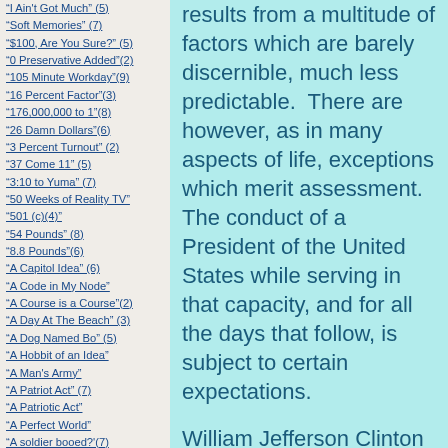"I Ain't Got Much" (5)
"Soft Memories" (7)
"$100, Are You Sure?" (5)
"0 Preservative Added"(2)
"105 Minute Workday"(9)
"16 Percent Factor"(3)
"176,000,000 to 1"(8)
"26 Damn Dollars"(6)
"3 Percent Turnout" (2)
"37 Come 11" (5)
"3:10 to Yuma" (7)
"50 Weeks of Reality TV"
"501 (c)(4)"
"54 Pounds" (8)
"8.8 Pounds"(6)
"A Capitol Idea" (6)
"A Code in My Node"
"A Course is a Course"(2)
"A Day At The Beach" (3)
"A Dog Named Bo" (5)
"A Hobbit of an Idea"
"A Man's Army"
"A Patriot Act" (7)
"A Patriotic Act"
"A Perfect World"
"A soldier booed?'(7)
"A Space Odyssey" (4)
"A Taxing Story" (5)
results from a multitude of factors which are barely discernible, much less predictable. There are however, as in many aspects of life, exceptions which merit assessment. The conduct of a President of the United States while serving in that capacity, and for all the days that follow, is subject to certain expectations.
William Jefferson Clinton lied to a Grand Jury. In the same situation, Frodo would also have probably lied. It was, and remains, Frodo's position that a Man was trying to cover up his mistakes in order to spare the feelings of his wife,